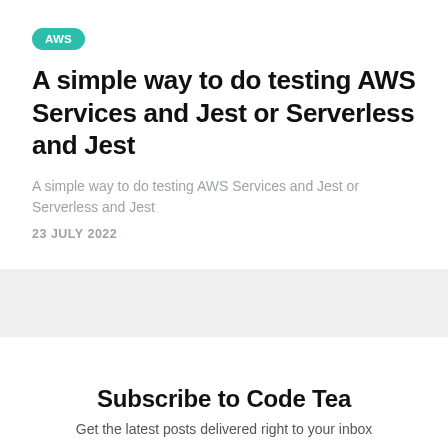AWS
A simple way to do testing AWS Services and Jest or Serverless and Jest
A simple way to do testing AWS Services and Jest or Serverless and Jest
23 JULY 2022
Subscribe to Code Tea
Get the latest posts delivered right to your inbox